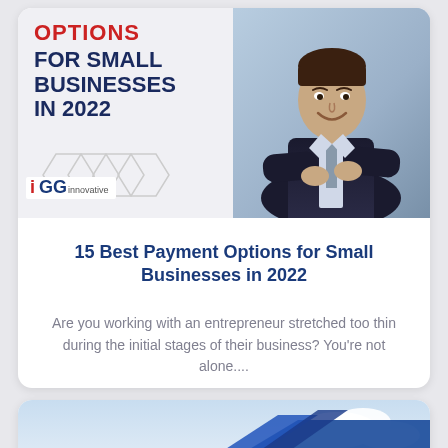[Figure (infographic): Cover image of a document titled '15 Best Payment Options for Small Businesses in 2022' showing bold text on left side with red 'OPTIONS' header and navy blue main text, plus a photo of a smiling businessman in a suit with arms crossed on the right side, with hexagon decorative elements and a logo at bottom left.]
15 Best Payment Options for Small Businesses in 2022
Are you working with an entrepreneur stretched too thin during the initial stages of their business? You’re not alone....
[Figure (photo): Partially visible card at bottom of page showing an image with blue diagonal element, clouds, and sky visible.]